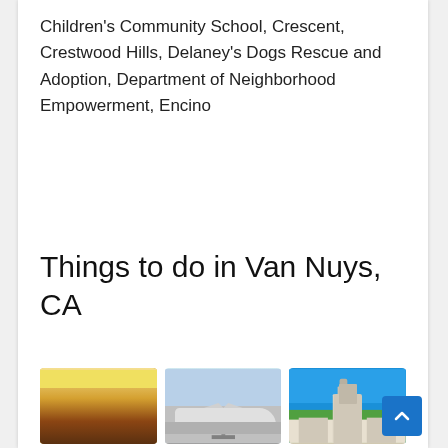Children's Community School, Crescent, Crestwood Hills, Delaney's Dogs Rescue and Adoption, Department of Neighborhood Empowerment, Encino
Things to do in Van Nuys, CA
[Figure (photo): Interior of 826LA & The Echo Park Time Travel Mart store]
[Figure (photo): Air Discovery LA - small red and white plane on tarmac]
[Figure (photo): Autry Museum of the American West building exterior with blue sky and mountains]
826LA & The Echo Park Time Travel Mart
Air Discovery LA
Autry Museum of the American West